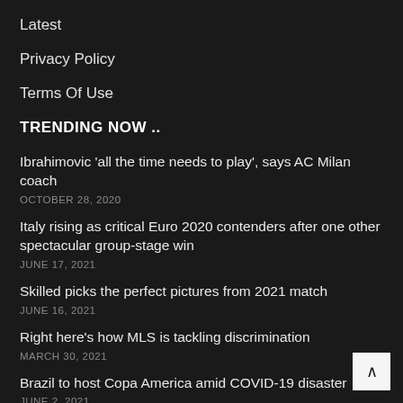Latest
Privacy Policy
Terms Of Use
TRENDING NOW ..
Ibrahimovic 'all the time needs to play', says AC Milan coach
OCTOBER 28, 2020
Italy rising as critical Euro 2020 contenders after one other spectacular group-stage win
JUNE 17, 2021
Skilled picks the perfect pictures from 2021 match
JUNE 16, 2021
Right here's how MLS is tackling discrimination
MARCH 30, 2021
Brazil to host Copa America amid COVID-19 disaster
JUNE 2, 2021